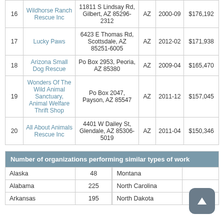| # | Name | Address | State | Period | Amount |
| --- | --- | --- | --- | --- | --- |
| 16 | Wildhorse Ranch Rescue Inc | 11811 S Lindsay Rd, Gilbert, AZ 85296-2312 | AZ | 2000-09 | $176,192 |
| 17 | Lucky Paws | 6423 E Thomas Rd, Scottsdale, AZ 85251-6005 | AZ | 2012-02 | $171,938 |
| 18 | Arizona Small Dog Rescue | Po Box 2953, Peoria, AZ 85380 | AZ | 2009-04 | $165,470 |
| 19 | Wonders Of The Wild Animal Sanctuary, Animal Welfare Thrift Shop | Po Box 2047, Payson, AZ 85547 | AZ | 2011-12 | $157,045 |
| 20 | All About Animals Rescue Inc | 4401 W Dailey St, Glendale, AZ 85306-5019 | AZ | 2011-04 | $150,346 |
| Number of organizations performing similar types of work |
| --- |
| Alaska | 48 | Montana |  |
| Alabama | 225 | North Carolina |  |
| Arkansas | 195 | North Dakota | 21 |